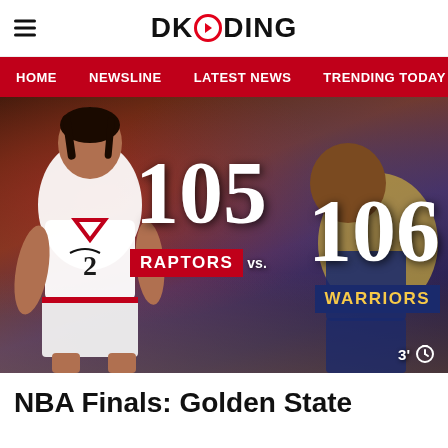DKODING
HOME | NEWSLINE | LATEST NEWS | TRENDING TODAY | ENT
[Figure (photo): Basketball players in action: Toronto Raptors #2 player on left, Golden State Warriors player on right, overlaid with score graphic: 105 RAPTORS vs. 106 WARRIORS, with a 3 minute timer badge]
NBA Finals: Golden State